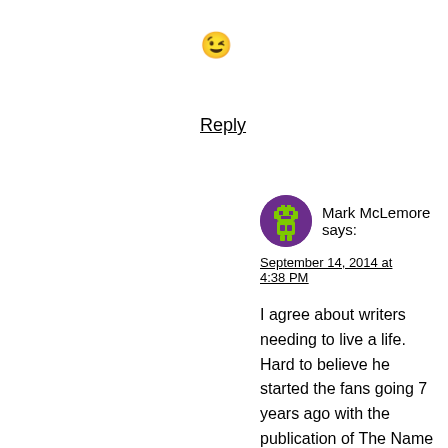😉
Reply
Mark McLemore says:
September 14, 2014 at 4:38 PM
I agree about writers needing to live a life. Hard to believe he started the fans going 7 years ago with the publication of The Name of the